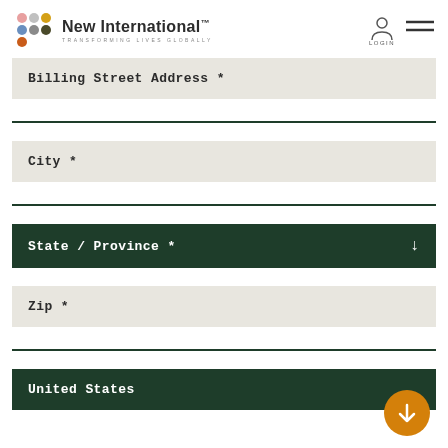New International™ — TRANSFORMING LIVES GLOBALLY
Billing Street Address *
City *
State / Province *
Zip *
United States